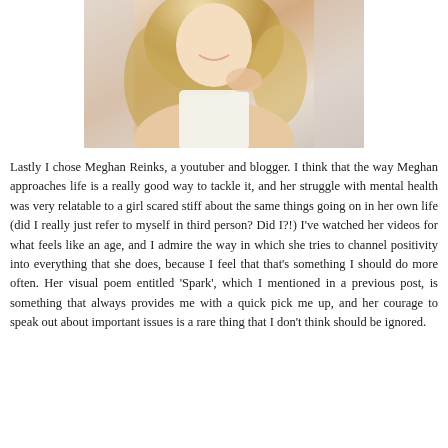[Figure (photo): A smiling young woman with long blonde wavy hair wearing a white top, photographed from about waist up, hand near shoulder, light background with curtains.]
Lastly I chose Meghan Reinks, a youtuber and blogger. I think that the way Meghan approaches life is a really good way to tackle it, and her struggle with mental health was very relatable to a girl scared stiff about the same things going on in her own life (did I really just refer to myself in third person? Did I?!) I've watched her videos for what feels like an age, and I admire the way in which she tries to channel positivity into everything that she does, because I feel that that's something I should do more often. Her visual poem entitled 'Spark', which I mentioned in a previous post, is something that always provides me with a quick pick me up, and her courage to speak out about important issues is a rare thing that I don't think should be ignored.